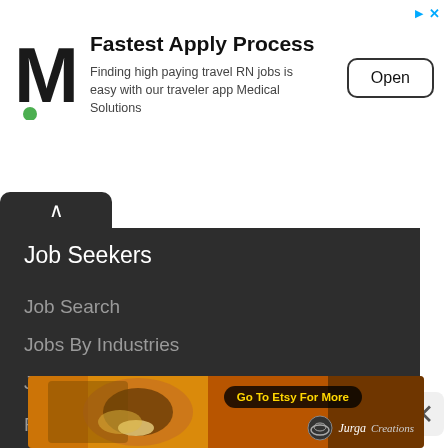[Figure (screenshot): Mobile app advertisement banner for Medical Solutions with M logo, title 'Fastest Apply Process', subtitle text and Open button]
Fastest Apply Process
Finding high paying travel RN jobs is easy with our traveler app Medical Solutions
Job Seekers
Job Search
Jobs By Industries
Jobs By States
Find Companies
Subscribe To Jobs Daily
[Figure (illustration): Etsy art advertisement featuring colorful painting with face/bee imagery and 'Go To Etsy For More' button, Jurga Creations logo]